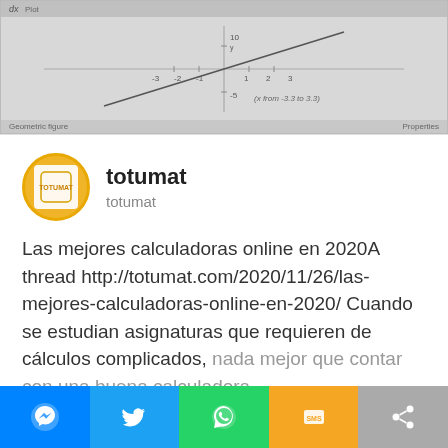[Figure (screenshot): Screenshot of a graphing calculator interface showing a linear function graph with axes, tick marks, and a diagonal line plotted. Bottom bar shows 'Geometric figure' and 'Properties' labels.]
totumat
totumat
Las mejores calculadoras online en 2020A thread http://totumat.com/2020/11/26/las-mejores-calculadoras-online-en-2020/ Cuando se estudian asignaturas que requieren de cálculos complicados, nada mejor que contar con una buena calculadora.
Read more
[Figure (infographic): Social share bar with five colored buttons: Messenger (blue), Twitter (light blue), WhatsApp (green), SMS (orange/yellow), and a share icon (gray).]